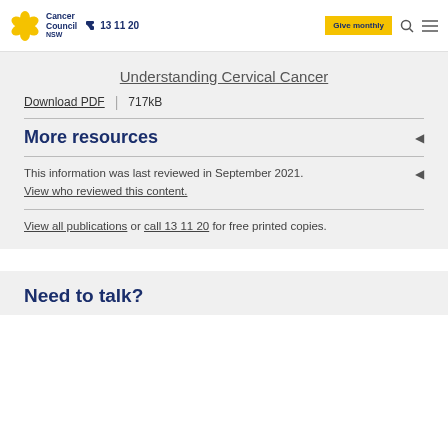Cancer Council NSW | 13 11 20 | Give monthly
Understanding Cervical Cancer
Download PDF | 717kB
More resources
This information was last reviewed in September 2021. View who reviewed this content.
View all publications or call 13 11 20 for free printed copies.
Need to talk?